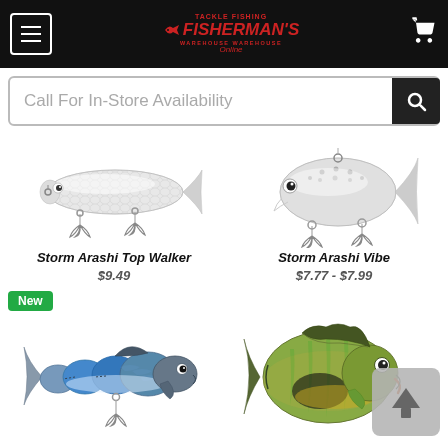Fisherman's Online
Call For In-Store Availability
[Figure (photo): Silver fishing lure (Storm Arashi Top Walker) with treble hooks]
[Figure (photo): Silver fishing lure (Storm Arashi Vibe) with treble hooks, shorter and rounder body]
Storm Arashi Top Walker
$9.49
Storm Arashi Vibe
$7.77 - $7.99
New
[Figure (photo): Blue and silver segmented fish-shaped lure with treble hooks]
[Figure (photo): Green and yellow sunfish-style lure with dark markings and red accent]